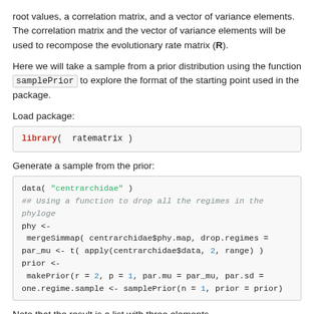root values, a correlation matrix, and a vector of variance elements. The correlation matrix and the vector of variance elements will be used to recompose the evolutionary rate matrix (R).
Here we will take a sample from a prior distribution using the function samplePrior to explore the format of the starting point used in the package.
Load package:
[Figure (screenshot): Code block: library( ratematrix )]
Generate a sample from the prior:
[Figure (screenshot): Code block with R code: data( "centrarchidae" ), ## Using a function to drop all the regimes in the phyloge, phy <- mergeSimmap( centrarchidae$phy.map, drop.regimes =, par_mu <- t( apply(centrarchidae$data, 2, range) ), prior <- makePrior(r = 2, p = 1, par.mu = par_mu, par.sd =, one.regime.sample <- samplePrior(n = 1, prior = prior)]
Note that the result is a list with three elements.
one.regime.sample[[1]] is a vector of root values,